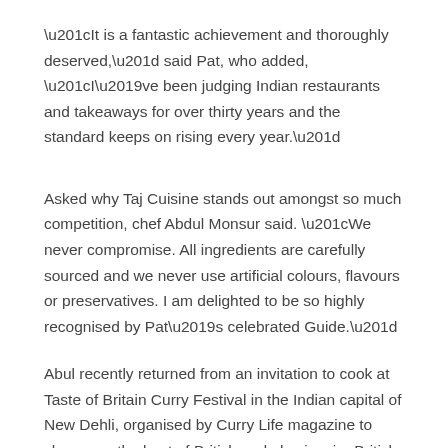“It is a fantastic achievement and thoroughly deserved,” said Pat, who added, “I’ve been judging Indian restaurants and takeaways for over thirty years and the standard keeps on rising every year.”
Asked why Taj Cuisine stands out amongst so much competition, chef Abdul Monsur said. “We never compromise. All ingredients are carefully sourced and we never use artificial colours, flavours or preservatives. I am delighted to be so highly recognised by Pat’s celebrated Guide.”
Abul recently returned from an invitation to cook at Taste of Britain Curry Festival in the Indian capital of New Dehli, organised by Curry Life magazine to showcase the best of British and also inspire British chefs to bring fresh ideas to their own menus.